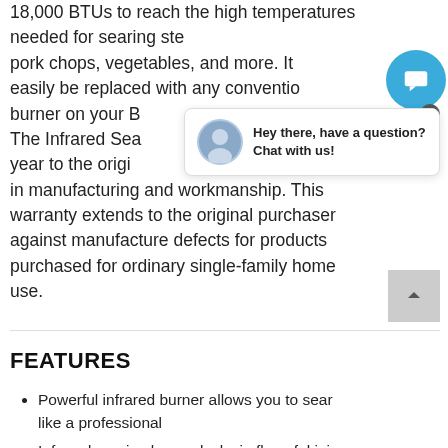18,000 BTUs to reach the high temperatures needed for searing steaks, pork chops, vegetables, and more. It can easily be replaced with any conventional burner on your BBQ. The Infrared Searing Burner comes with a 1 year to the original purchaser for defects in manufacturing and workmanship. This warranty extends to the original purchaser against manufacture defects for products purchased for ordinary single-family home use.
[Figure (other): Blue circular chat button with message icon, and a chat popup showing an avatar photo of a person and text 'Hey there, have a question? Chat with us!']
FEATURES
Powerful infrared burner allows you to sear like a professional
Infrared searing burner locks in flavorful juices